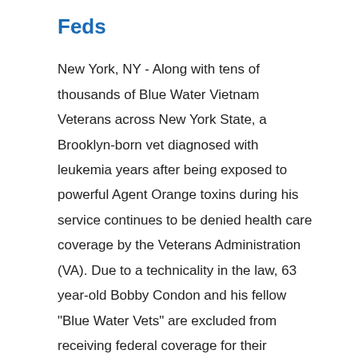Feds
New York, NY - Along with tens of thousands of Blue Water Vietnam Veterans across New York State, a Brooklyn-born vet diagnosed with leukemia years after being exposed to powerful Agent Orange toxins during his service continues to be denied health care coverage by the Veterans Administration (VA). Due to a technicality in the law, 63 year-old Bobby Condon and his fellow "Blue Water Vets" are excluded from receiving federal coverage for their illnesses because they did not serve on the ground. ... Continue Reading